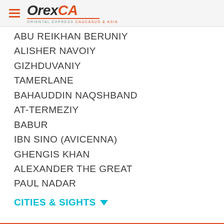[Figure (logo): OrexCA logo with hamburger menu icon, italic bold text 'Orex' in dark gray and 'CA' in orange-red, tagline 'ORIENTAL EXPRESS CAUCASUS & ASIA']
ABU REIKHAN BERUNIY
ALISHER NAVOIY
GIZHDUVANIY
TAMERLANE
BAHAUDDIN NAQSHBAND
AT-TERMEZIY
BABUR
IBN SINO (AVICENNA)
GHENGIS KHAN
ALEXANDER THE GREAT
PAUL NADAR
CITIES & SIGHTS ▾